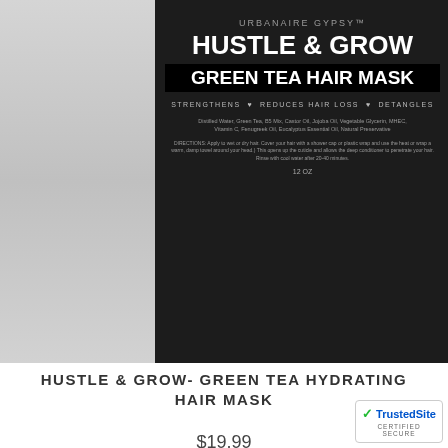[Figure (photo): Black jar of Urbanaire Gypsy Hustle & Grow Green Tea Hair Mask on grey background]
HUSTLE & GROW- GREEN TEA HYDRATING HAIR MASK
$19.99
[Figure (other): Five red stars rating]
[Figure (photo): Small dark bottle of Hustle & Glow Pure Hair & Skin Radiance Oil on grey background]
[Figure (logo): TrustedSite Certified Secure badge]